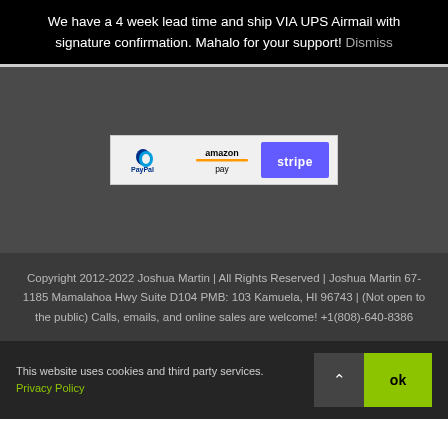We have a 4 week lead time and ship VIA UPS Airmail with signature confirmation. Mahalo for your support! Dismiss
[Figure (logo): Payment method logos: PayPal, Amazon Pay, and Stripe]
Copyright 2012-2022 Joshua Martin | All Rights Reserved | Joshua Martin 67-1185 Mamalahoa Hwy Suite D104 PMB: 103 Kamuela, HI 96743 | (Not open to the public) Calls, emails, and online sales are welcome! +1(808)-640-8386
This website uses cookies and third party services. Privacy Policy